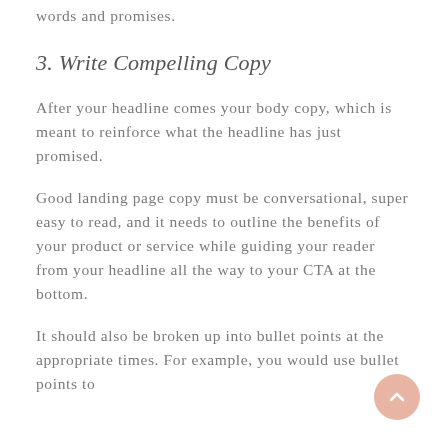words and promises.
3. Write Compelling Copy
After your headline comes your body copy, which is meant to reinforce what the headline has just promised.
Good landing page copy must be conversational, super easy to read, and it needs to outline the benefits of your product or service while guiding your reader from your headline all the way to your CTA at the bottom.
It should also be broken up into bullet points at the appropriate times. For example, you would use bullet points to